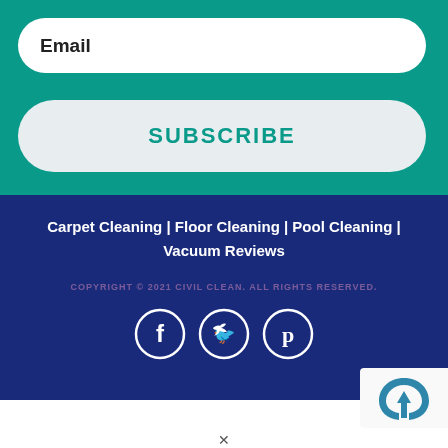Email
SUBSCRIBE
Carpet Cleaning | Floor Cleaning | Pool Cleaning | Vacuum Reviews
COPYRIGHT © 2021 CIVIL CLEAN. ALL RIGHTS RESERVED.
[Figure (illustration): Social media icons: Facebook, Twitter, Pinterest — white circle outlines on navy background]
[Figure (logo): reCAPTCHA badge partially visible in bottom right corner]